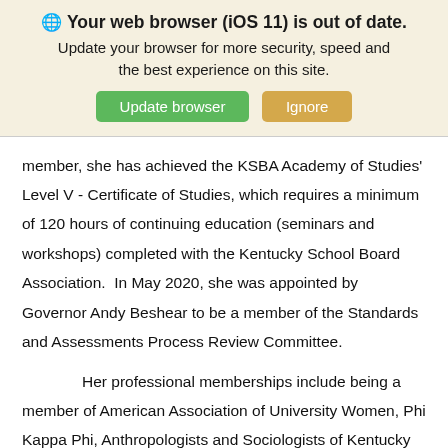🌐 Your web browser (iOS 11) is out of date. Update your browser for more security, speed and the best experience on this site. [Update browser] [Ignore]
member, she has achieved the KSBA Academy of Studies' Level V - Certificate of Studies, which requires a minimum of 120 hours of continuing education (seminars and workshops) completed with the Kentucky School Board Association.  In May 2020, she was appointed by Governor Andy Beshear to be a member of the Standards and Assessments Process Review Committee.
Her professional memberships include being a member of American Association of University Women, Phi Kappa Phi, Anthropologists and Sociologists of Kentucky (A.S.K.), and the